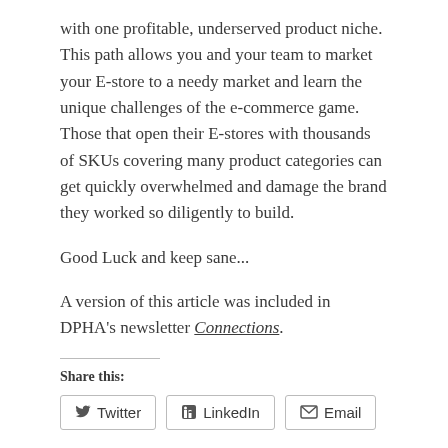with one profitable, underserved product niche. This path allows you and your team to market your E-store to a needy market and learn the unique challenges of the e-commerce game. Those that open their E-stores with thousands of SKUs covering many product categories can get quickly overwhelmed and damage the brand they worked so diligently to build.
Good Luck and keep sane...
A version of this article was included in DPHA's newsletter Connections.
Share this:
Loading...